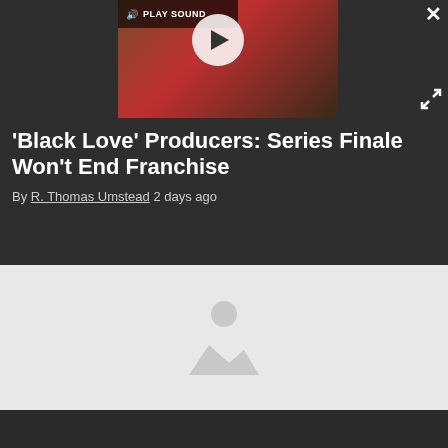[Figure (screenshot): Video thumbnail with play button overlay showing a scene with red clothing, with a 'PLAY SOUND' control bar at top left of the video frame. Dark overlay surrounds the video. Close (X) button at top right, expand button at right.]
'Black Love' Producers: Series Finale Won't End Franchise
By R. Thomas Umstead 2 days ago
[Figure (photo): Image placeholder with mountain/landscape icon on light gray background]
[Figure (other): Dark strip at bottom of article area]